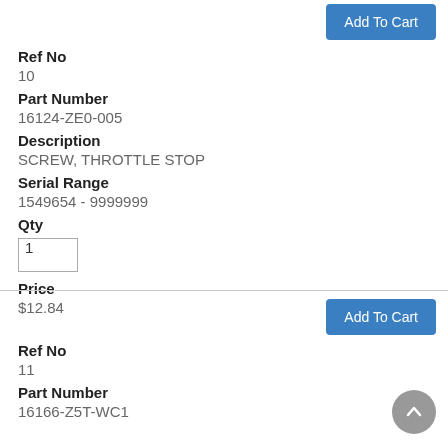Add To Cart
Ref No
10
Part Number
16124-ZE0-005
Description
SCREW, THROTTLE STOP
Serial Range
1549654 - 9999999
Qty
1
Price
$12.84
Add To Cart
Ref No
11
Part Number
16166-Z5T-WC1